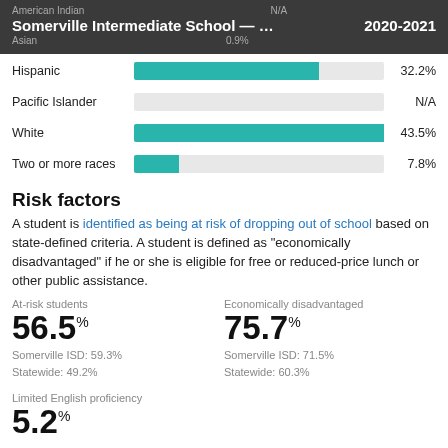Somerville Intermediate School — S... 2020-2021
[Figure (bar-chart): Race/Ethnicity enrollment percentages]
Risk factors
A student is identified as being at risk of dropping out of school based on state-defined criteria. A student is defined as "economically disadvantaged" if he or she is eligible for free or reduced-price lunch or other public assistance.
At-risk students
56.5%
Somerville ISD: 59.3%
Stalewide: 49.2%
Economically disadvantaged
75.7%
Somerville ISD: 71.5%
Stalewide: 60.3%
Limited English proficiency
5.2%